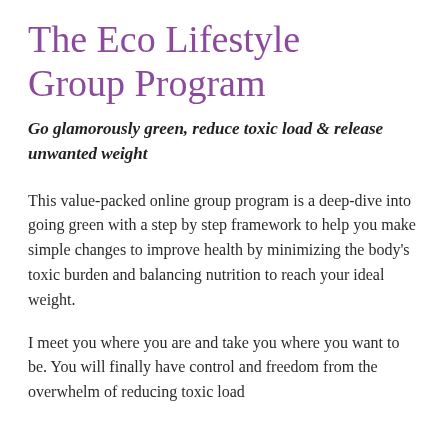The Eco Lifestyle Group Program
Go glamorously green, reduce toxic load & release unwanted weight
This value-packed online group program is a deep-dive into going green with a step by step framework to help you make simple changes to improve health by minimizing the body's toxic burden and balancing nutrition to reach your ideal weight.
I meet you where you are and take you where you want to be. You will finally have control and freedom from the overwhelm of reducing toxic load